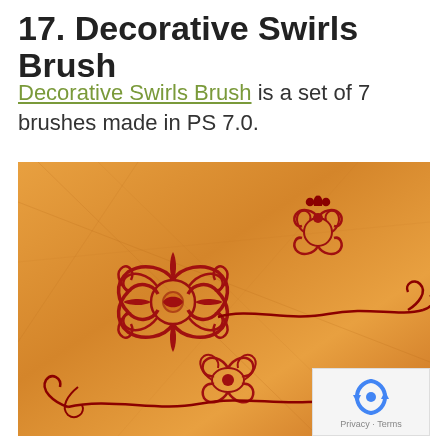17. Decorative Swirls Brush
Decorative Swirls Brush is a set of 7 brushes made in PS 7.0.
[Figure (photo): A decorative swirls brush preview image showing ornate red/dark red floral and scroll patterns on a warm orange/golden textured background. Multiple decorative brush designs are visible including a large symmetrical medallion on the left, smaller floral motifs on the upper right, and flowing scroll designs in the center and bottom.]